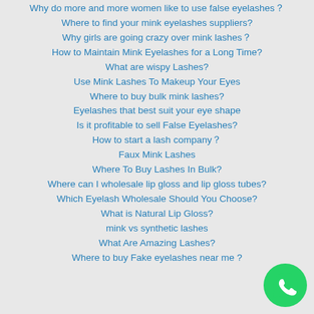Why do more and more women like to use false eyelashes？
Where to find your mink eyelashes suppliers?
Why girls are going crazy over mink lashes？
How to Maintain Mink Eyelashes for a Long Time?
What are wispy Lashes?
Use Mink Lashes To Makeup Your Eyes
Where to buy bulk mink lashes?
Eyelashes that best suit your eye shape
Is it profitable to sell False Eyelashes?
How to start a lash company？
Faux Mink Lashes
Where To Buy Lashes In Bulk?
Where can I wholesale lip gloss and lip gloss tubes?
Which Eyelash Wholesale Should You Choose?
What is Natural Lip Gloss?
mink vs synthetic lashes
What Are Amazing Lashes?
Where to buy Fake eyelashes near me ?
[Figure (logo): WhatsApp green circular button with phone handset icon]